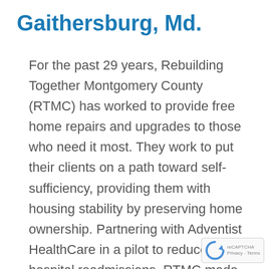Gaithersburg, Md.
For the past 29 years, Rebuilding Together Montgomery County (RTMC) has worked to provide free home repairs and upgrades to those who need it most. They work to put their clients on a path toward self-sufficiency, providing them with housing stability by preserving home ownership. Partnering with Adventist HealthCare in a pilot to reduce hospital readmissions, RTMC made sure that accessibility modifications were made to the homes of discharged patients, none of whom were readmitted